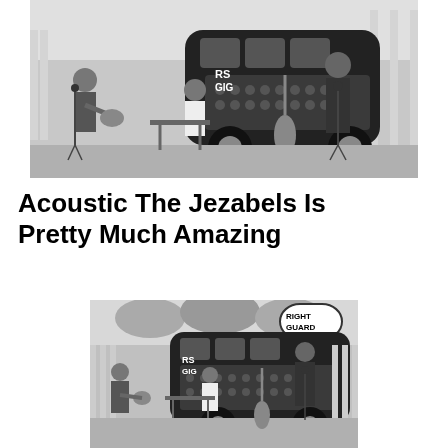[Figure (photo): Black and white photo of an acoustic band performing outdoors in front of a decorated VW bus (Right Guard branding). Musicians playing guitar and other instruments, one person standing at a microphone.]
Acoustic The Jezabels Is Pretty Much Amazing
[Figure (photo): Black and white photo, smaller, showing the same outdoor acoustic performance in front of the VW bus. Band members visible with guitars and instruments, singer at microphone, Right Guard logo visible on bus.]